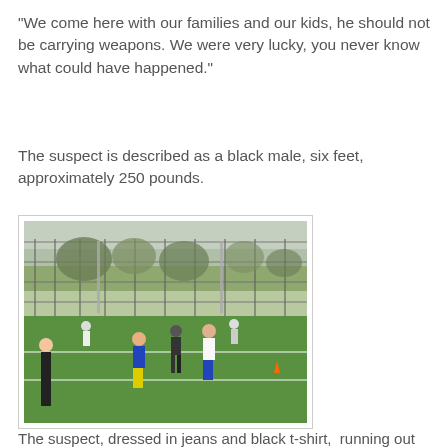"We come here with our families and our kids, he should not be carrying weapons. We were very lucky, you never know what could have happened."
The suspect is described as a black male, six feet, approximately 250 pounds.
[Figure (photo): Outdoor soccer field with chain-link fence backdrop. Several players visible on green turf; one player in blue and yellow, one in white, a referee in black, and others in background. Trees visible beyond the fence.]
The suspect, dressed in jeans and black t-shirt,  running out of the soccer field...